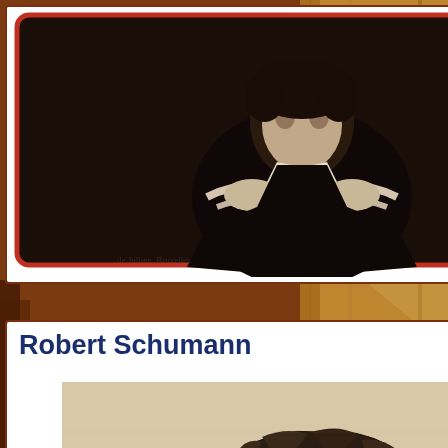[Figure (photo): Background image with warm brown/sepia tones resembling old books or wood, with a white card in the upper area containing a dark photograph of a man with arms crossed, framed by a red-bordered rounded rectangle. Below is another white card showing a portrait of Robert Schumann, a young man with curly dark hair in a historical engraving style.]
Robert Schumann